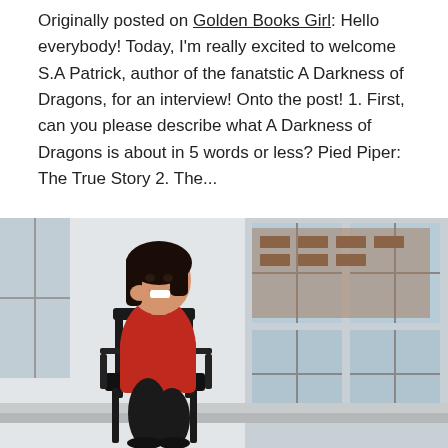Originally posted on Golden Books Girl: Hello everybody! Today, I'm really excited to welcome S.A Patrick, author of the fanatstic A Darkness of Dragons, for an interview! Onto the post! 1. First, can you please describe what A Darkness of Dragons is about in 5 words or less? Pied Piper: The True Story 2. The...
[Figure (photo): A smiling woman with dark hair wearing a red long-sleeve top and black pants, seated in a black office chair near large windows. Brick buildings visible through the windows in the background.]